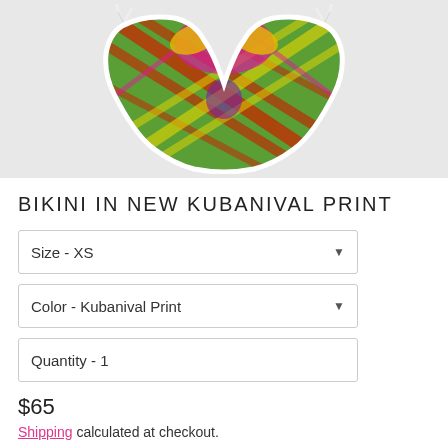[Figure (photo): Product photo of a colorful bikini bottom with tropical plaid print in green, yellow, pink, and red with white tie sides, on a light gray background.]
BIKINI IN NEW KUBANIVAL PRINT
Size - XS
Color - Kubanival Print
Quantity - 1
$65
Shipping calculated at checkout.